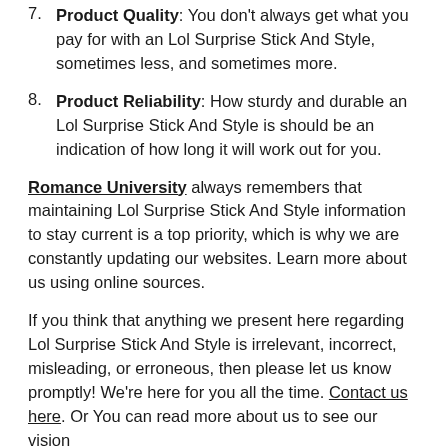7. Product Quality: You don't always get what you pay for with an Lol Surprise Stick And Style, sometimes less, and sometimes more.
8. Product Reliability: How sturdy and durable an Lol Surprise Stick And Style is should be an indication of how long it will work out for you.
Romance University always remembers that maintaining Lol Surprise Stick And Style information to stay current is a top priority, which is why we are constantly updating our websites. Learn more about us using online sources.
If you think that anything we present here regarding Lol Surprise Stick And Style is irrelevant, incorrect, misleading, or erroneous, then please let us know promptly! We're here for you all the time. Contact us here. Or You can read more about us to see our vision